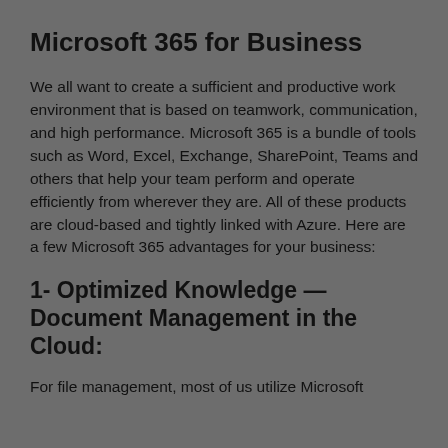Microsoft 365 for Business
We all want to create a sufficient and productive work environment that is based on teamwork, communication, and high performance. Microsoft 365 is a bundle of tools such as Word, Excel, Exchange, SharePoint, Teams and others that help your team perform and operate efficiently from wherever they are. All of these products are cloud-based and tightly linked with Azure. Here are a few Microsoft 365 advantages for your business:
1- Optimized Knowledge — Document Management in the Cloud:
For file management, most of us utilize Microsoft